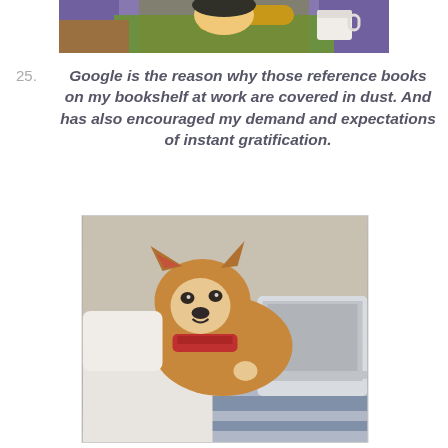[Figure (photo): Top portion of an illustrated/cartoon image showing a character sitting in a purple chair with a coffee cup, partially cropped]
25. Google is the reason why those reference books on my bookshelf at work are covered in dust. And has also encouraged my demand and expectations of instant gratification.
[Figure (photo): A Shiba Inu dog lying on a bed next to a laptop computer, wearing a red bandana/collar, looking at the camera]